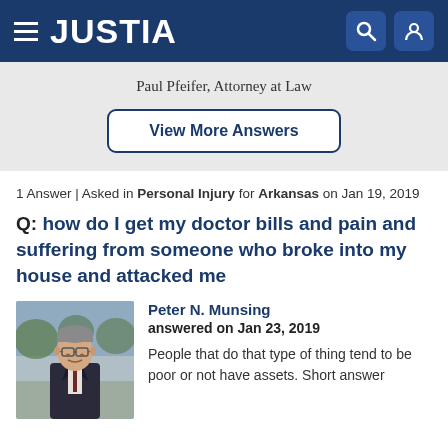JUSTIA
Paul Pfeifer, Attorney at Law
View More Answers
1 Answer | Asked in Personal Injury for Arkansas on Jan 19, 2019
Q: how do I get my doctor bills and pain and suffering from someone who broke into my house and attacked me
Peter N. Munsing
answered on Jan 23, 2019
[Figure (photo): Portrait photo of Peter N. Munsing, an attorney wearing a dark suit and glasses, standing outdoors]
People that do that type of thing tend to be poor or not have assets. Short answer